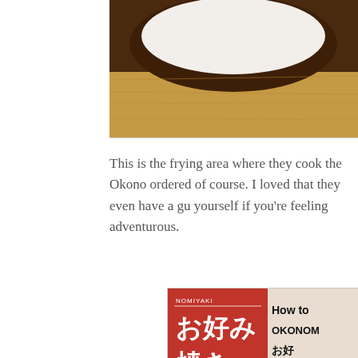[Figure (photo): Photo showing the top portion of a dark bowl on a wooden surface, cropped at top of page]
This is the frying area where they cook the Okono ordered of course. I loved that they even have a gu yourself if you're feeling adventurous.
[Figure (photo): Photo of an Okonomiyaki cooking instruction sign with red banner showing Japanese characters お好み焼き and 'How to OKONOM お好' with illustration of a bowl being mixed with chopsticks]